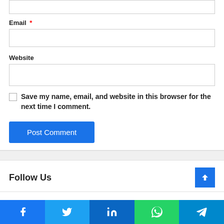Email *
Website
Save my name, email, and website in this browser for the next time I comment.
Post Comment
Follow Us
[Figure (infographic): Social media share bar with icons for Facebook, Twitter, LinkedIn, WhatsApp, and Telegram]